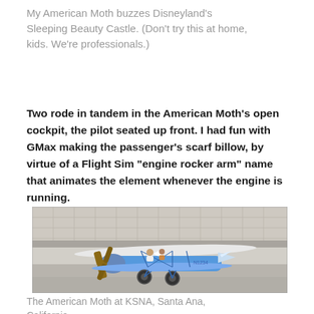My American Moth buzzes Disneyland's Sleeping Beauty Castle. (Don't try this at home, kids. We're professionals.)
Two rode in tandem in the American Moth's open cockpit, the pilot seated up front. I had fun with GMax making the passenger's scarf billow, by virtue of a Flight Sim "engine rocker arm" name that animates the element whenever the engine is running.
[Figure (photo): A blue and white American Moth biplane on a tarmac at KSNA (John Wayne Airport), Santa Ana, California. Two figures are visible in the open cockpit. The plane has a wooden propeller, blue fuselage and wings, wire bracing, and two small wheels. An airport terminal building is visible in the background.]
The American Moth at KSNA, Santa Ana, California.